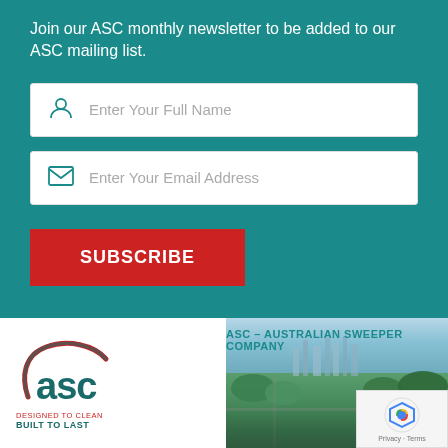Join our ASC monthly newsletter to be added to our ASC mailing list.
[Figure (screenshot): Name input field with person icon and placeholder text 'Enter Your Full Name']
[Figure (screenshot): Email input field with envelope icon and placeholder text 'Enter Your Email Address']
SUBSCRIBE
[Figure (logo): ASC - Australian Sweeper Company logo with aerial photo background, tagline 'DESIGNED TO CLEAN BUILT TO LAST']